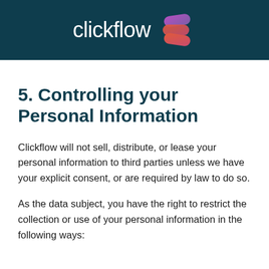clickflow
5. Controlling your Personal Information
Clickflow will not sell, distribute, or lease your personal information to third parties unless we have your explicit consent, or are required by law to do so.
As the data subject, you have the right to restrict the collection or use of your personal information in the following ways: